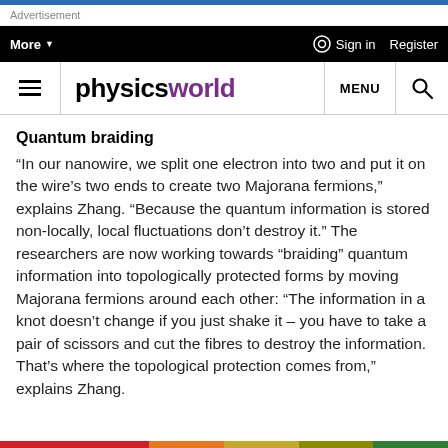Advertisement
More  Sign in  Register
physicsworld MENU
Quantum braiding
“In our nanowire, we split one electron into two and put it on the wire’s two ends to create two Majorana fermions,” explains Zhang. “Because the quantum information is stored non-locally, local fluctuations don’t destroy it.” The researchers are now working towards “braiding” quantum information into topologically protected forms by moving Majorana fermions around each other: “The information in a knot doesn’t change if you just shake it – you have to take a pair of scissors and cut the fibres to destroy the information. That’s where the topological protection comes from,” explains Zhang.